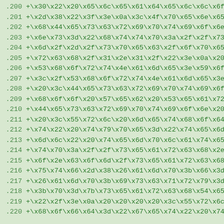Lines 200-220 of hex-escaped code content
.200  +\x30\x22\x20\x65\x6c\x65\x61\x64\x65\x6c\x6c\x6f
.201  +\x2d\x38\x22\x3f\x3e\x0a\x3c\x4f\x70\x65\x6e
.202  +\x68\x44\x65\x73\x63\x72\x69\x70\x74\x69\x6f
.203  +\x6e\x73\x3d\x22\x68\x74\x74\x70\x3a\x2f\x2f
.204  +\x6d\x2f\x2d\x2f\x73\x70\x65\x63\x2f\x6f\x70
.205  +\x72\x63\x68\x2f\x31\x2e\x31\x2f\x22\x3e\x0a
.206  +\x53\x68\x6f\x72\x74\x4e\x61\x6d\x65\x3e\x59
.207  +\x3c\x2f\x53\x68\x6f\x72\x74\x4e\x61\x6d\x65
.208  +\x20\x3c\x44\x65\x73\x63\x72\x69\x70\x74\x69
.209  +\x68\x6f\x6f\x20\x57\x65\x62\x20\x53\x65\x61
.210  +\x44\x65\x73\x63\x72\x69\x70\x74\x69\x6f\x6e
.211  +\x20\x3c\x55\x72\x6c\x20\x6d\x65\x74\x68\x6f
.212  +\x74\x22\x20\x74\x79\x70\x65\x3d\x22\x74\x65
.213  +\x6d\x6c\x22\x20\x74\x65\x6d\x70\x6c\x61\x74
.214  +\x74\x70\x3a\x2f\x2f\x73\x65\x61\x72\x63\x68
.215  +\x6f\x2e\x63\x6f\x6d\x2f\x73\x65\x61\x72\x63
.216  +\x75\x74\x66\x2d\x38\x26\x61\x6d\x70\x3b\x66
.217  +\x26\x61\x6d\x70\x3b\x69\x73\x63\x71\x72\x79
.218  +\x3b\x70\x3d\x7b\x73\x65\x61\x72\x63\x68\x54
.219  +\x22\x2f\x3e\x0a\x20\x20\x20\x20\x3c\x55\x72\x6c
.220  +\x68\x6f\x66\x64\x3d\x22\x67\x65\x74\x22\x20\x74